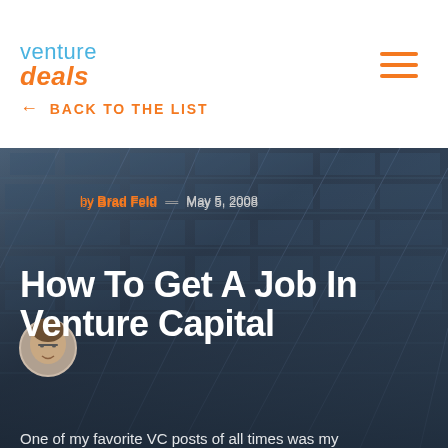venture deals
← BACK TO THE LIST
[Figure (photo): Building facade with glass windows forming a grid pattern, used as hero background image. Shows author avatar of Brad Feld (circular headshot).]
by Brad Feld — May 5, 2008
How To Get A Job In Venture Capital
One of my favorite VC posts of all times was my